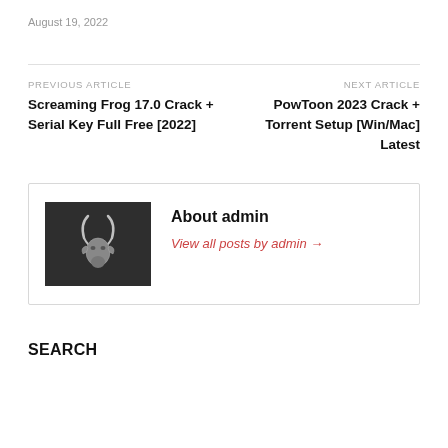August 19, 2022
PREVIOUS ARTICLE
Screaming Frog 17.0 Crack + Serial Key Full Free [2022]
NEXT ARTICLE
PowToon 2023 Crack + Torrent Setup [Win/Mac] Latest
[Figure (illustration): Author avatar image: dark grey background with a silver stylized antelope or gazelle head logo/mascot]
About admin
View all posts by admin →
SEARCH